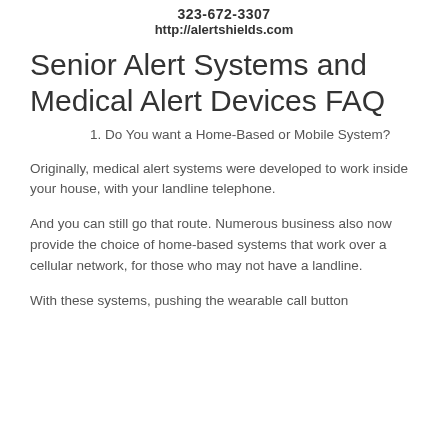323-672-3307
http://alertshields.com
Senior Alert Systems and Medical Alert Devices FAQ
1. Do You want a Home-Based or Mobile System?
Originally, medical alert systems were developed to work inside your house, with your landline telephone.
And you can still go that route. Numerous business also now provide the choice of home-based systems that work over a cellular network, for those who may not have a landline.
With these systems, pushing the wearable call button